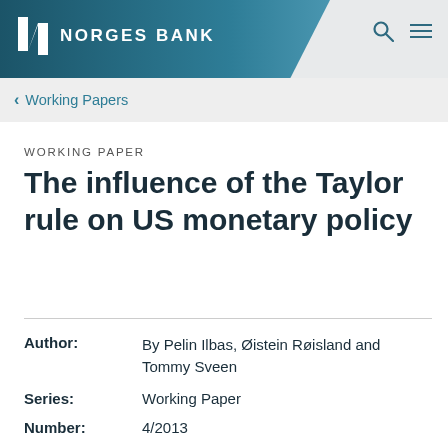NORGES BANK
Working Papers
WORKING PAPER
The influence of the Taylor rule on US monetary policy
| Field | Value |
| --- | --- |
| Author: | By Pelin Ilbas, Øistein Røisland and Tommy Sveen |
| Series: | Working Paper |
| Number: | 4/2013 |